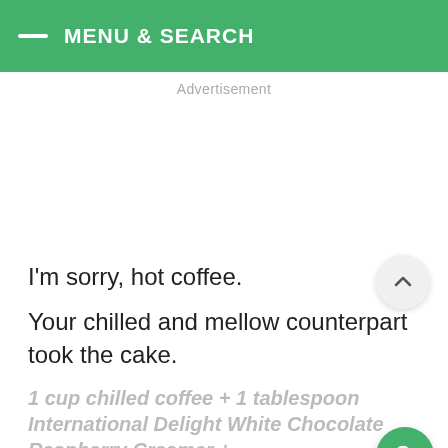MENU & SEARCH
Advertisement
I'm sorry, hot coffee.
Your chilled and mellow counterpart took the cake.
1 cup chilled coffee + 1 tablespoon International Delight White Chocolate Raspberry Creamer +